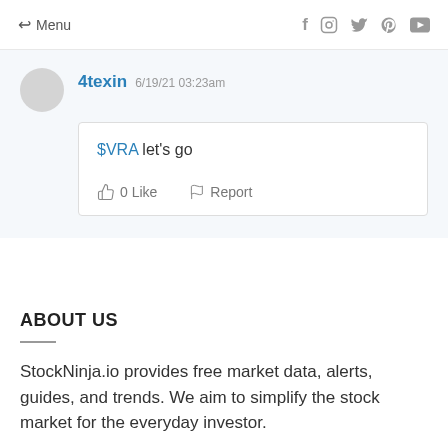Menu  f  Instagram  Twitter  Pinterest  YouTube
4texin 6/19/21 03:23am
$VRA let's go
0 Like  Report
ABOUT US
StockNinja.io provides free market data, alerts, guides, and trends. We aim to simplify the stock market for the everyday investor.